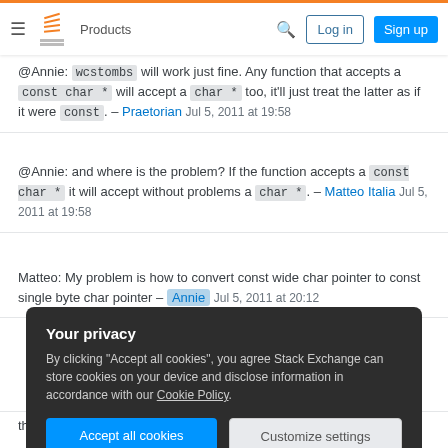Stack Overflow navigation bar with logo, Products, search, Log in, Sign up
@Annie: wcstombs will work just fine. Any function that accepts a const char * will accept a char * too, it'll just treat the latter as if it were const . – Praetorian Jul 5, 2011 at 19:58
@Annie: and where is the problem? If the function accepts a const char * it will accept without problems a char *. – Matteo Italia Jul 5, 2011 at 19:58
Matteo: My problem is how to convert const wide char pointer to const single byte char pointer – Annie Jul 5, 2011 at 20:12
Your privacy
By clicking "Accept all cookies", you agree Stack Exchange can store cookies on your device and disclose information in accordance with our Cookie Policy.
Accept all cookies   Customize settings
the input parameter expects a const char *.